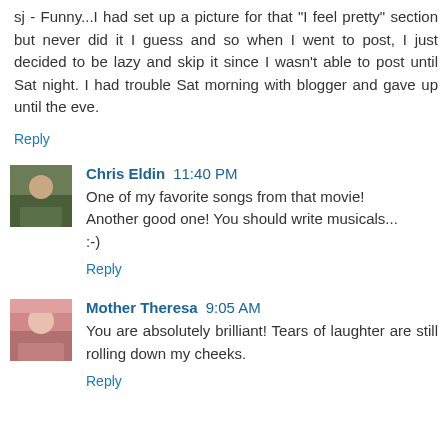sj - Funny...I had set up a picture for that "I feel pretty" section but never did it I guess and so when I went to post, I just decided to be lazy and skip it since I wasn't able to post until Sat night. I had trouble Sat morning with blogger and gave up until the eve.
Reply
Chris Eldin  11:40 PM
One of my favorite songs from that movie!
Another good one! You should write musicals...
:-)
Reply
Mother Theresa  9:05 AM
You are absolutely brilliant! Tears of laughter are still rolling down my cheeks.
Reply